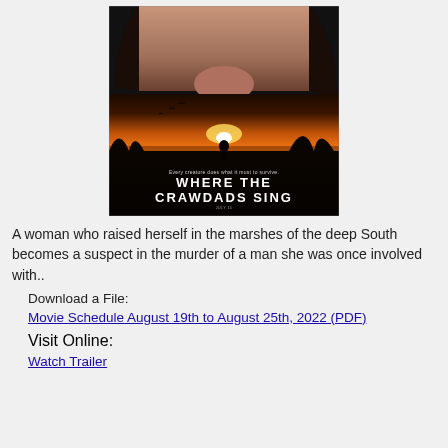[Figure (photo): Movie poster for 'Where the Crawdads Sing' showing a woman's face close-up at top, a silhouette of a girl at sunset over marshes in the middle, and the movie title 'WHERE THE CRAWDADS SING' with tagline 'Every creature does what it must to survive.' and release date July 15 at bottom.]
A woman who raised herself in the marshes of the deep South becomes a suspect in the murder of a man she was once involved with..
Download a File:
Movie Schedule August 19th to August 25th, 2022 (PDF)
Visit Online:
Watch Trailer